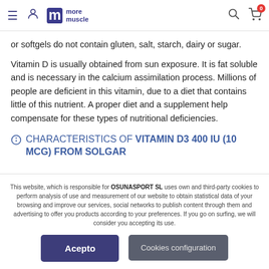more muscle — navigation bar with hamburger, user icon, logo, search, and cart (0 items)
or softgels do not contain gluten, salt, starch, dairy or sugar.
Vitamin D is usually obtained from sun exposure. It is fat soluble and is necessary in the calcium assimilation process. Millions of people are deficient in this vitamin, due to a diet that contains little of this nutrient. A proper diet and a supplement help compensate for these types of nutritional deficiencies.
CHARACTERISTICS OF VITAMIN D3 400 IU (10 MCG) FROM SOLGAR
This website, which is responsible for OSUNASPORT SL uses own and third-party cookies to perform analysis of use and measurement of our website to obtain statistical data of your browsing and improve our services, social networks to publish content through them and advertising to offer you products according to your preferences. If you go on surfing, we will consider you accepting its use.
Acepto
Cookies configuration